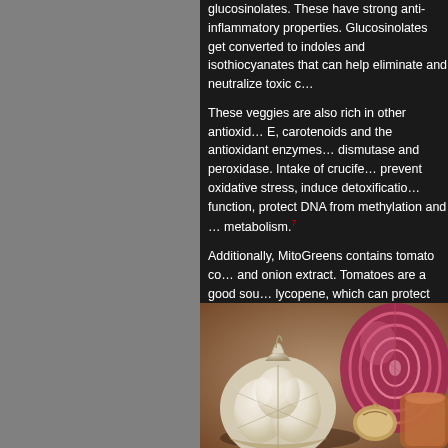glucosinolates. These have strong anti-inflammatory properties. Glucosinolates get converted to indoles and isothiocyanates that can help eliminate and neutralize toxic compounds.
These veggies are also rich in other antioxidants like Vitamin E, carotenoids and the antioxidant enzymes like superoxide dismutase and peroxidase. Intake of cruciferous veggies can prevent oxidative stress, induce detoxification enzymes, stimulate immune function, protect DNA from methylation and enhance hormone metabolism.⁷
Additionally, MitoGreens contains tomato concentrate, carrot and onion extract. Tomatoes are a good source of the carotenoid lycopene, which can protect the eyes and the cardiovascular. Carrots are a source of carotenoids, including lutein. Onion is a good source of quercetin and flavonoids.
Spices & Herbs
[Figure (photo): Close-up photo of garlic bulbs, red onion slices, and other spices/herbs]